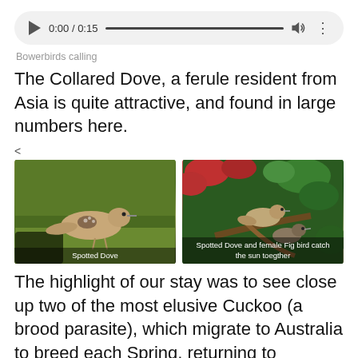[Figure (screenshot): Audio player UI showing play button, timestamp 0:00 / 0:15, progress bar, volume icon, and options dots]
Bowerbirds calling
The Collared Dove, a ferule resident from Asia is quite attractive, and found in large numbers here.
[Figure (photo): Two side-by-side bird photos. Left: Spotted Dove standing on green grass. Right: Spotted Dove and female Fig bird catch the sun toegther, perched in tree with red and green foliage.]
The highlight of our stay was to see close up two of the most elusive Cuckoo (a brood parasite), which migrate to Australia to breed each Spring, returning to countries north of